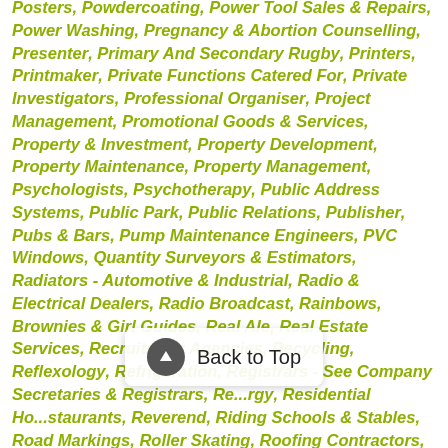Posters, Powdercoating, Power Tool Sales & Repairs, Power Washing, Pregnancy & Abortion Counselling, Presenter, Primary And Secondary Rugby, Printers, Printmaker, Private Functions Catered For, Private Investigators, Professional Organiser, Project Management, Promotional Goods & Services, Property & Investment, Property Development, Property Maintenance, Property Management, Psychologists, Psychotherapy, Public Address Systems, Public Park, Public Relations, Publisher, Pubs & Bars, Pump Maintenance Engineers, PVC Windows, Quantity Surveyors & Estimators, Radiators - Automotive & Industrial, Radio & Electrical Dealers, Radio Broadcast, Rainbows, Brownies & Girl Guides, Real Ale, Real Estate Services, Recruitment Agencies, Recycling, Reflexology, Refrigeration, Registrars - See Company Secretaries & Registrars, Re..., Residential Ho..., ...staurants, Reverend, Riding Schools & Stables, Road Markings, Roller Skating, Roofing Contractors,
[Figure (other): Back to Top button overlay with upward arrow icon]